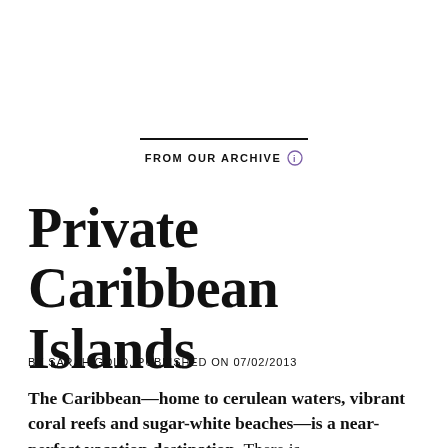FROM OUR ARCHIVE
Private Caribbean Islands
BY SARAH GOLD, PUBLISHED ON 07/02/2013
The Caribbean—home to cerulean waters, vibrant coral reefs and sugar-white beaches—is a near-perfect vacation destination. There is